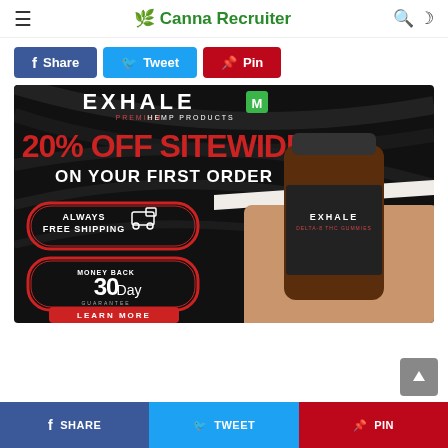≡ 🌿 Canna Recruiter 🔍 ☽
f Share | Tweet | Pin
[Figure (photo): Exhale Premium Hemp Products advertisement: '20% OFF SITEWIDE ON YOUR FIRST ORDER', Always Free Shipping, Money Back 30 Day Guarantee, Learn More button, product bottle shown]
f SHARE | TWEET | PIN